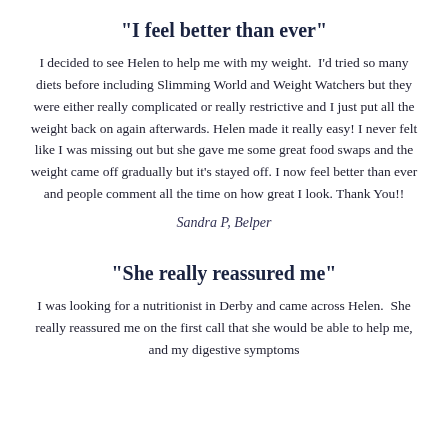"I feel better than ever"
I decided to see Helen to help me with my weight.  I'd tried so many diets before including Slimming World and Weight Watchers but they were either really complicated or really restrictive and I just put all the weight back on again afterwards. Helen made it really easy! I never felt like I was missing out but she gave me some great food swaps and the weight came off gradually but it's stayed off. I now feel better than ever and people comment all the time on how great I look. Thank You!!
Sandra P, Belper
"She really reassured me"
I was looking for a nutritionist in Derby and came across Helen.  She really reassured me on the first call that she would be able to help me, and my digestive symptoms